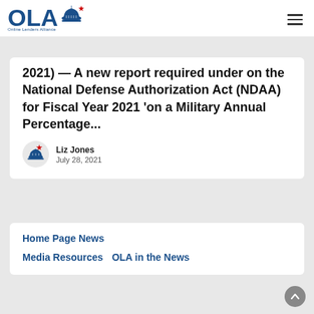Online Lenders Alliance
2021) — A new report required under on the National Defense Authorization Act (NDAA) for Fiscal Year 2021 'on a Military Annual Percentage...
Liz Jones
July 28, 2021
Home Page News
Media Resources   OLA in the News